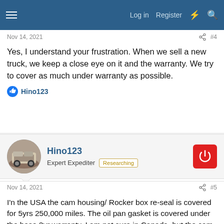Log in  Register
Nov 14, 2021   #4
Yes, I understand your frustration. When we sell a new truck, we keep a close eye on it and the warranty. We try to cover as much under warranty as possible.
Hino123
Hino123
Expert Expediter  Researching
Nov 14, 2021   #5
I'n the USA the cam housing/ Rocker box re-seal is covered for 5yrs 250,000 miles. The oil pan gasket is covered under the base 2yr warranty. I am not sure in Canada, but the cam housing re-seal would be a warrantable failure in the USA. I would double check that. Also if you are not replacing the injectors you can re-use the 6 fuel injector feed lines. If you are replacing the injectors then they would need to be replaced. The feed line clips MUST be replaced as well as the 7 seals after a...